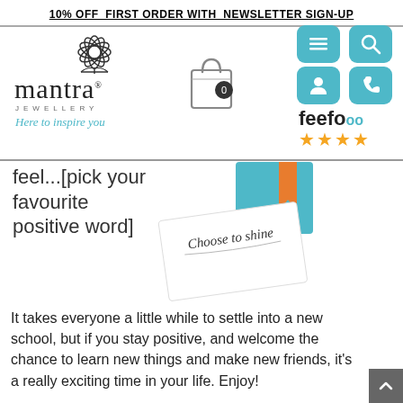10% OFF FIRST ORDER WITH NEWSLETTER SIGN-UP
[Figure (logo): Mantra Jewellery logo with lotus flower, text 'mantra JEWELLERY Here to inspire you']
[Figure (illustration): Shopping bag icon with 0 badge]
[Figure (infographic): Four teal icon buttons (menu, search, account, phone) and Feefo 4-star rating logo]
feel...[pick your favourite positive word]
[Figure (photo): Polaroid-style card with handwritten text 'Choose to shine' and orange bookmark]
It takes everyone a little while to settle into a new school, but if you stay positive, and welcome the chance to learn new things and make new friends, it's a really exciting time in your life. Enjoy!